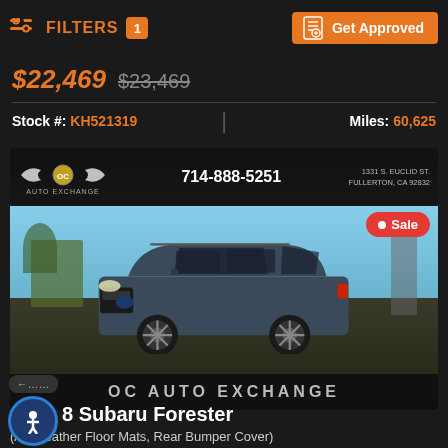FILTERS 1 | Get Approved
$22,469 $23,469
Stock #: KH521319 | Miles: 60,625
[Figure (photo): Subaru Forester SUV parked outdoors in front of a dealership banner for OC Auto Exchange. Phone: 714-888-5251, Address: 1331 S. Euclid St., Fullerton, CA 92832. A red Sale badge is visible in the upper right. Bottom overlay reads OC AUTO EXCHANGE.]
8 Subaru Forester
(All Weather Floor Mats, Rear Bumper Cover)